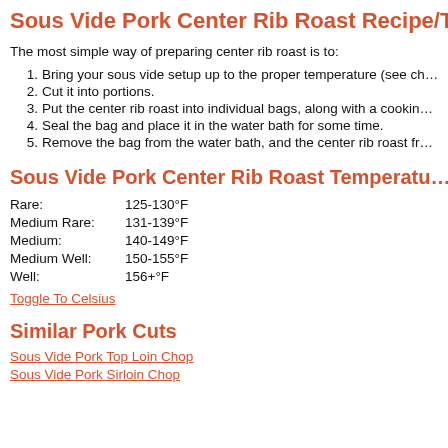Sous Vide Pork Center Rib Roast Recipe/Ti…
The most simple way of preparing center rib roast is to:
1. Bring your sous vide setup up to the proper temperature (see ch…
2. Cut it into portions.
3. Put the center rib roast into individual bags, along with a cookin…
4. Seal the bag and place it in the water bath for some time.
5. Remove the bag from the water bath, and the center rib roast fr…
Sous Vide Pork Center Rib Roast Temperatu…
Rare: 125-130°F
Medium Rare: 131-139°F
Medium: 140-149°F
Medium Well: 150-155°F
Well: 156+°F
Toggle To Celsius
Similar Pork Cuts
Sous Vide Pork Top Loin Chop
Sous Vide Pork Sirloin Chop